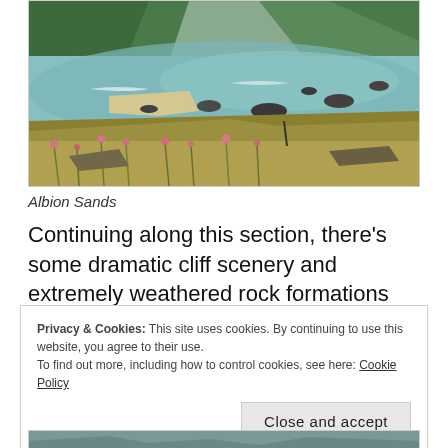[Figure (photo): Coastal cliff scenery showing a rocky shoreline with turquoise sea, green headlands, wildflowers in the foreground including pink blooms, and rocks scattered in the water at Albion Sands.]
Albion Sands
Continuing along this section, there’s some dramatic cliff scenery and extremely weathered rock formations
Privacy & Cookies: This site uses cookies. By continuing to use this website, you agree to their use.
To find out more, including how to control cookies, see here: Cookie Policy
Close and accept
[Figure (photo): Partial view of another coastal photograph at the bottom of the page.]